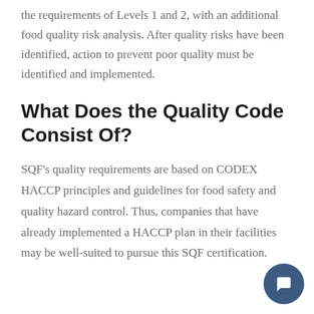the requirements of Levels 1 and 2, with an additional food quality risk analysis. After quality risks have been identified, action to prevent poor quality must be identified and implemented.
What Does the Quality Code Consist Of?
SQF's quality requirements are based on CODEX HACCP principles and guidelines for food safety and quality hazard control. Thus, companies that have already implemented a HACCP plan in their facilities may be well-suited to pursue this SQF certification.